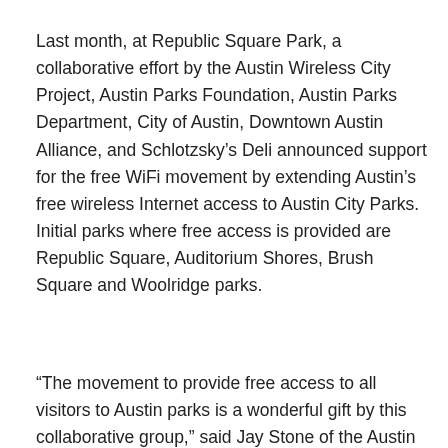Last month, at Republic Square Park, a collaborative effort by the Austin Wireless City Project, Austin Parks Foundation, Austin Parks Department, City of Austin, Downtown Austin Alliance, and Schlotzsky's Deli announced support for the free WiFi movement by extending Austin's free wireless Internet access to Austin City Parks. Initial parks where free access is provided are Republic Square, Auditorium Shores, Brush Square and Woolridge parks.
“The movement to provide free access to all visitors to Austin parks is a wonderful gift by this collaborative group,” said Jay Stone of the Austin Parks and Recreation Department. “Austinites are by nature high-tech and love the outdoors. Combining the two should expand the use and enjoyment of the public park services.”